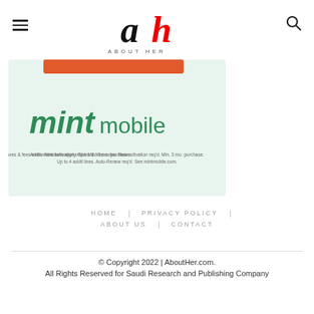About Her — site header with logo, hamburger menu, and search icon
[Figure (logo): Mint Mobile advertisement banner with mint green background showing Mint Mobile logo and fine print text]
HOME | PRIVACY POLICY | ABOUT US | CONTACT
© Copyright 2022 | AboutHer.com.
All Rights Reserved for Saudi Research and Publishing Company